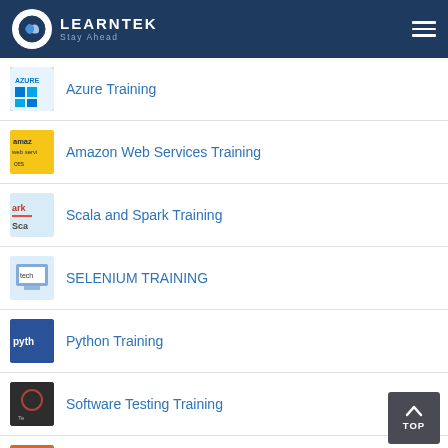LEARNTEK Stay Ahead
Azure Training
Amazon Web Services Training
Scala and Spark Training
SELENIUM TRAINING
Python Training
Software Testing Training
Hadoop Administration Training
DEVOPS Training